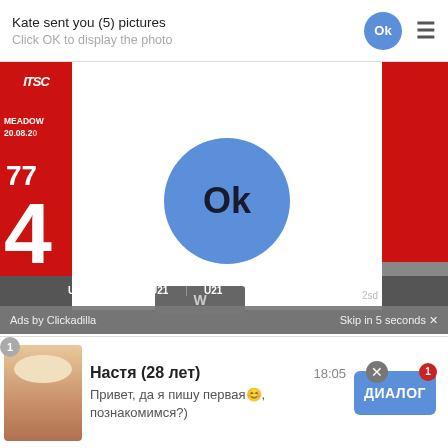Kate sent you (5) pictures
Click OK to display the photo
[Figure (screenshot): Mobile browser screenshot showing a popup ad overlay on a YouTube/sports video page. Popup shows 'Kate sent you (5) pictures / Click OK to display the photo' with a blue OK button. Background shows a red-themed Arsenal vs Chelsea U21 highlights video. Bottom shows Clickadilla ad bar 'Ads by Clickadilla / Skip in 5 seconds'. Video title: HIGHLIGHTS | Arsenal vs Chelsea (4-1) | U21 | Olayinka, Edwards, Sagoe Jr, Butler-Oyedeji]
HIGHLIGHTS | Arsenal vs Chelsea (4-1) | U21 | Olayinka, Edwards, Sagoe Jr, Butler-Oyedeji
Настя (28 лет)
18:05
Привет, да я пишу первая😊, познакомимся?)